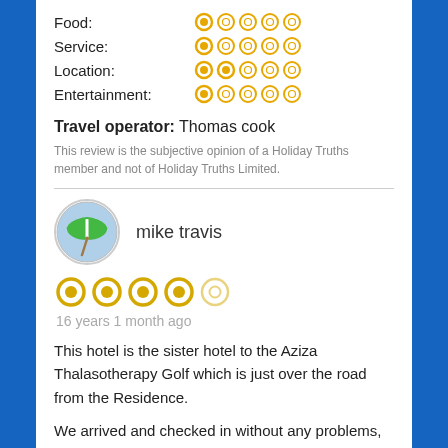Food: 1/5 stars
Service: 1/5 stars
Location: 2/5 stars
Entertainment: 1/5 stars
Travel operator: Thomas cook
This review is the subjective opinion of a Holiday Truths member and not of Holiday Truths Limited.
mike travis
[Figure (other): User avatar: circular photo of beach umbrella]
4.5/5 stars rating, 16 years 1 month ago
This hotel is the sister hotel to the Aziza Thalasotherapy Golf which is just over the road from the Residence.
We arrived and checked in without any problems, the reception staff were very helpful and friendly. Rooms are cleaned every day and the general hotel is spotless.